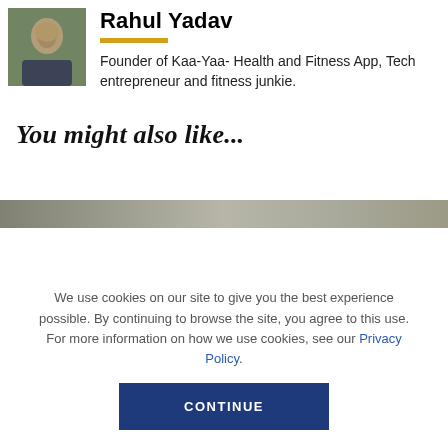[Figure (photo): Headshot photo of Rahul Yadav, a man in a dark shirt with greenery in background]
Rahul Yadav
Founder of Kaa-Yaa- Health and Fitness App, Tech entrepreneur and fitness junkie.
You might also like...
[Figure (photo): Partially visible image strip at the bottom of the page content area]
We use cookies on our site to give you the best experience possible. By continuing to browse the site, you agree to this use. For more information on how we use cookies, see our Privacy Policy.
CONTINUE